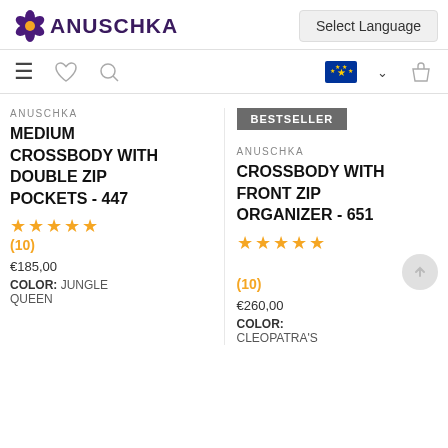ANUSCHKA — Select Language
ANUSCHKA
MEDIUM CROSSBODY WITH DOUBLE ZIP POCKETS - 447
★★★★★ (10)
€185,00
COLOR: JUNGLE QUEEN
BESTSELLER
ANUSCHKA
CROSSBODY WITH FRONT ZIP ORGANIZER - 651
★★★★★ (10)
€260,00
COLOR: CLEOPATRA'S